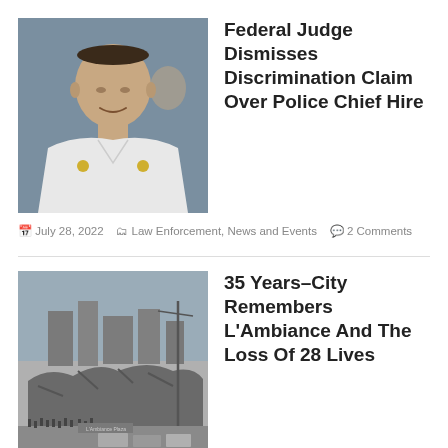[Figure (photo): Color photo of a Black male police officer in white uniform shirt with gold badge, speaking, blue background]
Federal Judge Dismisses Discrimination Claim Over Police Chief Hire
July 28, 2022  Law Enforcement, News and Events  2 Comments
[Figure (photo): Black and white aerial/elevated photo of a collapsed building site, L'Ambiance Plaza, with crowds and rubble visible]
35 Years–City Remembers L'Ambiance And The Loss Of 28 Lives
April 23, 2022  Analysis and Comment, News and Events  1 Comment